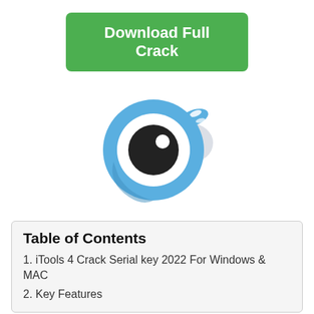[Figure (other): Green download button with white text reading 'Download Full Crack']
[Figure (logo): iTools logo: a blue circular eye-like icon with a blue comet-tail shape, white ring, and dark pupil with white highlight]
Table of Contents
1. iTools 4 Crack Serial key 2022 For Windows & MAC
2. Key Features